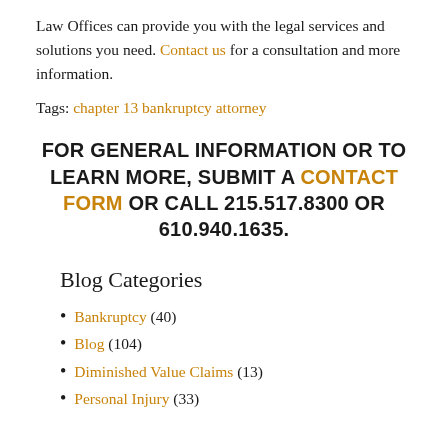Law Offices can provide you with the legal services and solutions you need. Contact us for a consultation and more information.
Tags: chapter 13 bankruptcy attorney
FOR GENERAL INFORMATION OR TO LEARN MORE, SUBMIT A CONTACT FORM OR CALL 215.517.8300 OR 610.940.1635.
Blog Categories
Bankruptcy (40)
Blog (104)
Diminished Value Claims (13)
Personal Injury (33)